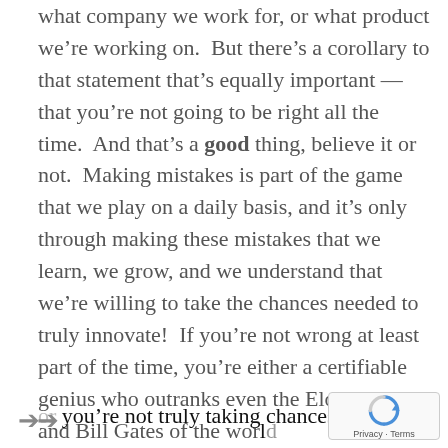...no matter what industry we're in, no matter what company we work for, or what product we're working on. But there's a corollary to that statement that's equally important — that you're not going to be right all the time. And that's a good thing, believe it or not. Making mistakes is part of the game that we play on a daily basis, and it's only through making these mistakes that we learn, we grow, and we understand that we're willing to take the chances needed to truly innovate! If you're not wrong at least part of the time, you're either a certifiable genius who outranks even the Elon Musks and Bill Gates of the world, or you're not truly taking chances.